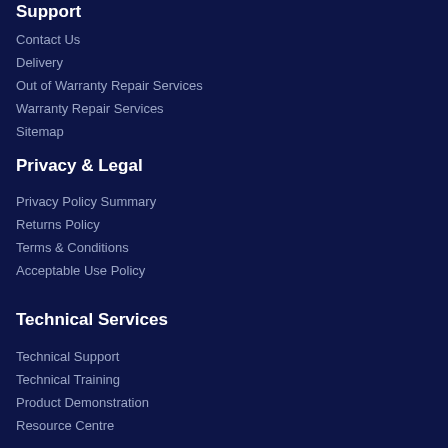Support
Contact Us
Delivery
Out of Warranty Repair Services
Warranty Repair Services
Sitemap
Privacy & Legal
Privacy Policy Summary
Returns Policy
Terms & Conditions
Acceptable Use Policy
Technical Services
Technical Support
Technical Training
Product Demonstration
Resource Centre